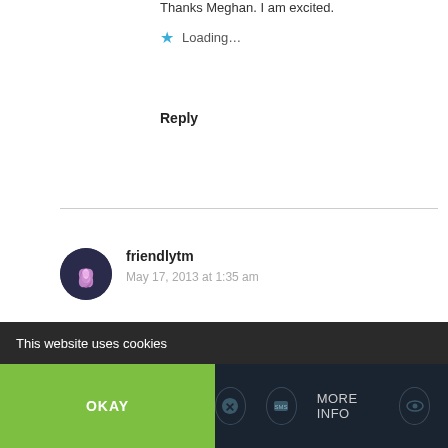Thanks Meghan. I am excited.
★ Loading...
Reply
friendlytm
May 17, 2013 at 1:35 am
Wow! How exciting! I am happy for you! I look forward to reading about your trip to IIndis.
★ Loading...
This website uses cookies
OKAY
MORE INFO